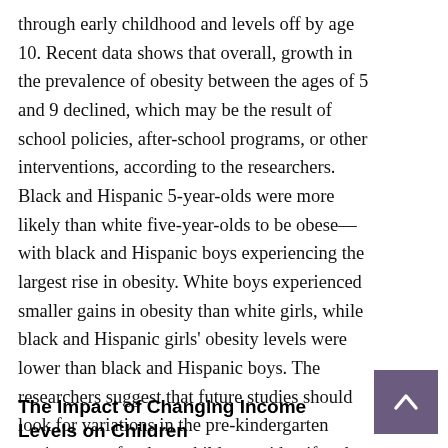through early childhood and levels off by age 10. Recent data shows that overall, growth in the prevalence of obesity between the ages of 5 and 9 declined, which may be the result of school policies, after-school programs, or other interventions, according to the researchers. Black and Hispanic 5-year-olds were more likely than white five-year-olds to be obese—with black and Hispanic boys experiencing the largest rise in obesity. White boys experienced smaller gains in obesity than white girls, while black and Hispanic girls' obesity levels were lower than black and Hispanic boys. The researchers suggest that future studies should look for variations in the pre-kindergarten environment for these children to identify what is causing the weight difference.
The Impact of Changing Income Levels on Children